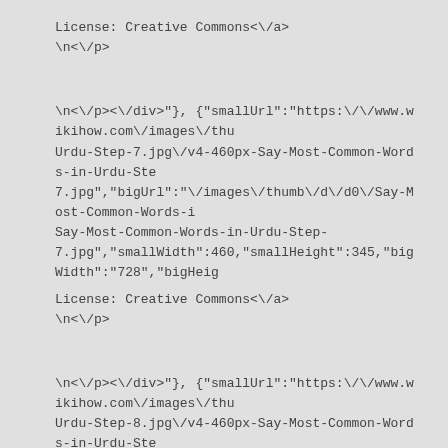License: Creative Commons<\/a>
\n<\/p>
\n<\/p><\/div>"}, {"smallUrl":"https:\/\/www.wikihow.com\/images\/thu Urdu-Step-7.jpg\/v4-460px-Say-Most-Common-Words-in-Urdu-Ste 7.jpg","bigUrl":"\/images\/thumb\/d\/d0\/Say-Most-Common-Words-i Say-Most-Common-Words-in-Urdu-Step- 7.jpg","smallWidth":460,"smallHeight":345,"bigWidth":"728","bigHeig
License: Creative Commons<\/a>
\n<\/p>
\n<\/p><\/div>"}, {"smallUrl":"https:\/\/www.wikihow.com\/images\/thu Urdu-Step-8.jpg\/v4-460px-Say-Most-Common-Words-in-Urdu-Ste 8.jpg","bigUrl":"\/images\/thumb\/6\/69\/Say-Most-Common-Words-i Say-Most-Common-Words-in-Urdu-Step- 8.jpg","smallWidth":460,"smallHeight":325,"bigWidth":"728","bigHeig
License: Creative Commons<\/a>
\n<\/p>
\n<\/p><\/div>"}. Urdu is language that combines Persian, Arabic, Tur Unlock staff-researched answers by supporting wikiHow